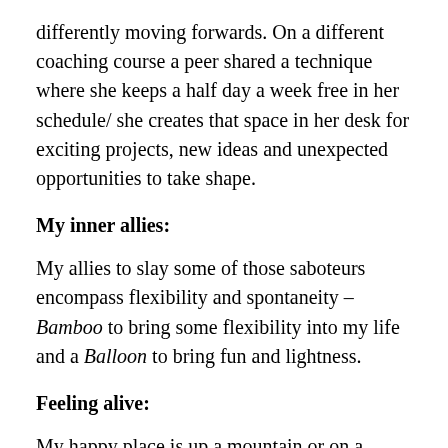differently moving forwards. On a different coaching course a peer shared a technique where she keeps a half day a week free in her schedule/ she creates that space in her desk for exciting projects, new ideas and unexpected opportunities to take shape.
My inner allies:
My allies to slay some of those saboteurs encompass flexibility and spontaneity – Bamboo to bring some flexibility into my life and a Balloon to bring fun and lightness.
Feeling alive:
My happy place is up a mountain or on a beach – I am outside, I am in all weathers, I feel alive and energised by my environment. I am reflecting lots on where I